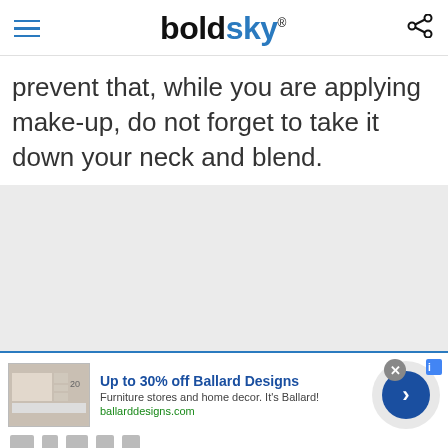boldsky
prevent that, while you are applying make-up, do not forget to take it down your neck and blend.
[Figure (other): Gray placeholder image area]
[Figure (other): Advertisement banner: Up to 30% off Ballard Designs. Furniture stores and home decor. It's Ballard! ballarddesigns.com]